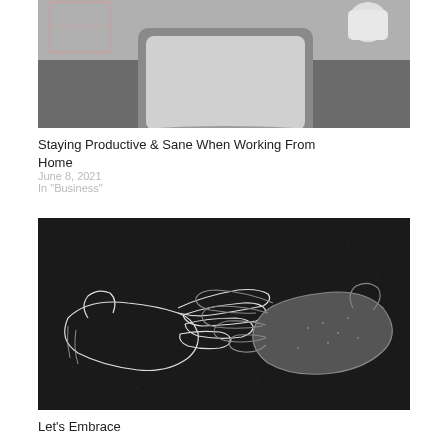[Figure (photo): Grayscale photo of a laptop/tablet on a dark desk with a white cup in the background]
Staying Productive & Sane When Working From Home
June 8, 2021
In "Business"
[Figure (illustration): Dark background illustration of two hands reaching toward each other (reminiscent of Michelangelo's Creation of Adam), in black and white sketch style]
Let's Embrace